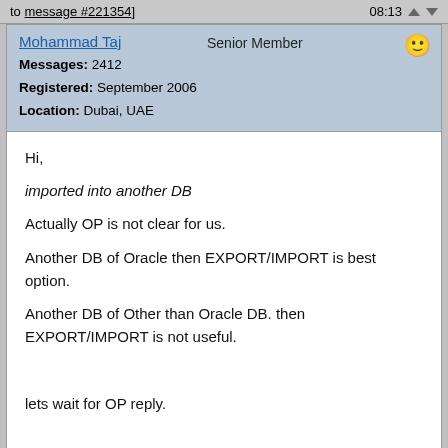to message #221354]   08:13
Mohammad Taj   Senior Member
Messages: 2412
Registered: September 2006
Location: Dubai, UAE
Hi,

imported into another DB

Actually OP is not clear for us.

Another DB of Oracle then EXPORT/IMPORT is best option.

Another DB of Other than Oracle DB. then EXPORT/IMPORT is not useful.


lets wait for OP reply.


regards

Taj
Report message to a moderator
profile   pm   reply   quote
Re: Oracle SQL File ... #221357 to ... Mon 20 February 2007 ...